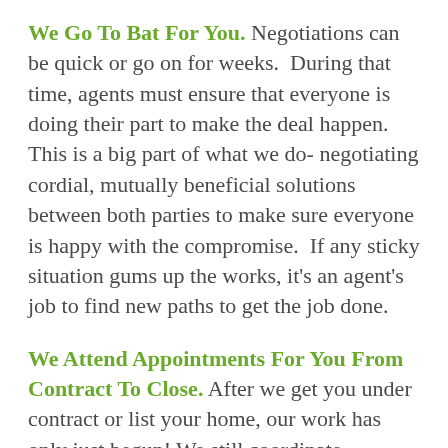We Go To Bat For You. Negotiations can be quick or go on for weeks. During that time, agents must ensure that everyone is doing their part to make the deal happen. This is a big part of what we do- negotiating cordial, mutually beneficial solutions between both parties to make sure everyone is happy with the compromise. If any sticky situation gums up the works, it's an agent's job to find new paths to get the job done.
We Attend Appointments For You From Contract To Close. After we get you under contract or list your home, our work has only just begun! We still coordinate meetings with our buyers and sellers, lenders, and title companies. Not to mention home inspectors, property appraisers, contractors, home stagers, professional photographers, handymen for